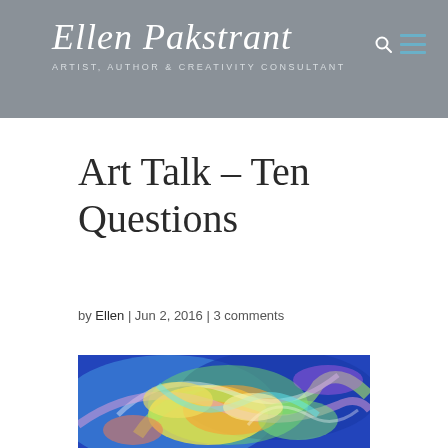Ellen Pakstrant — ARTIST, AUTHOR & CREATIVITY CONSULTANT
Art Talk – Ten Questions
by Ellen | Jun 2, 2016 | 3 comments
[Figure (photo): Colorful abstract swirl painting with vibrant blues, yellows, greens, pinks, and oranges in a fluid, dynamic composition]